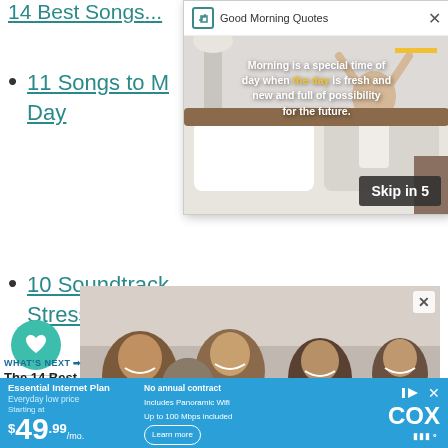14 Best Songs...
11 Songs to M... Day
10 Soundtracks... Stressed
[Figure (screenshot): Good Morning Quotes video popup showing a woman stretching in bed with motivational quote: 'Morning is a special time of day when the day is fresh and new and full of possibility for the future.' with Skip in 5 button]
[Figure (photo): Advertisement photo showing a family of four lying on a bed looking up at the camera, laughing]
[Figure (screenshot): COX Essential Internet Plan advertisement banner: Essential Internet Plan, Everyday low price, Starting at $49.99/mo, No annual contract, Includes Panoramic Wifi, Up to 100 Mbps included, Learn more]
255
WHAT'S NEXT → The 14 Best Songs for...